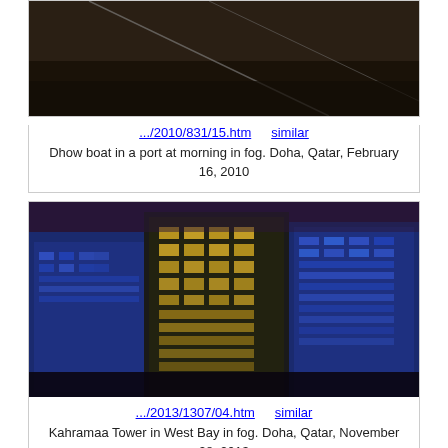[Figure (photo): Dhow boat in a port at morning in fog. Doha, Qatar. Dark atmospheric image showing ropes and boat hull.]
.../2010/831/15.htm   similar
Dhow boat in a port at morning in fog. Doha, Qatar, February 16, 2010
[Figure (photo): Kahramaa Tower in West Bay in fog. Doha, Qatar. Night shot of illuminated skyscrapers with blue and gold lighting against a foggy dark sky.]
.../2013/1307/04.htm   similar
Kahramaa Tower in West Bay in fog. Doha, Qatar, November 28, 2013